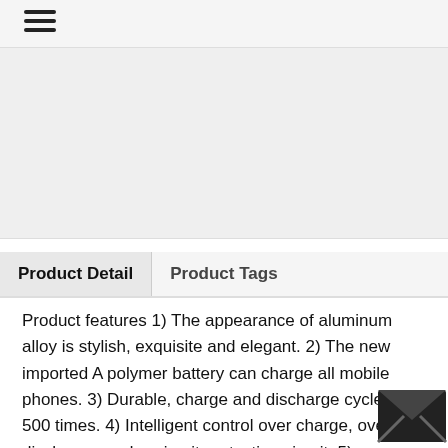≡
[Figure (photo): Product image placeholder area (light gray background)]
Product Detail   Product Tags
Product features 1) The appearance of aluminum alloy is stylish, exquisite and elegant. 2) The new imported A polymer battery can charge all mobile phones. 3) Durable, charge and discharge cycles @ 500 times. 4) Intelligent control over charge, over discharge, and short circuit protection circuit. 5) Automatic sleep, automatic charging protection state, low power warning 6) A